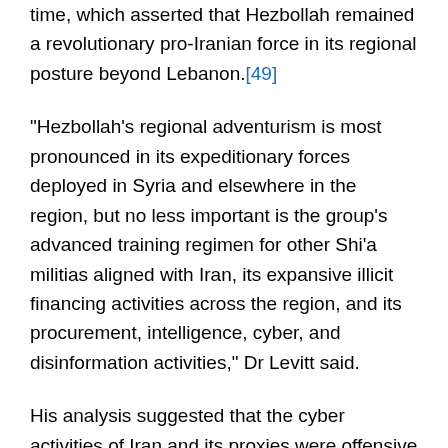time, which asserted that Hezbollah remained a revolutionary pro-Iranian force in its regional posture beyond Lebanon.[49]
"Hezbollah's regional adventurism is most pronounced in its expeditionary forces deployed in Syria and elsewhere in the region, but no less important is the group's advanced training regimen for other Shi'a militias aligned with Iran, its expansive illicit financing activities across the region, and its procurement, intelligence, cyber, and disinformation activities," Dr Levitt said.
His analysis suggested that the cyber activities of Iran and its proxies were offensive rather than defensive – a conclusion apparently questioned by some Israeli analysts. Israel's liberal Haaretz newspaper quoted a maritime source with ties to the Jewish state's defence sector as saying that recently leaked documents describing the shadow maritime and cyber battle between Iran and Israel as potentially "more